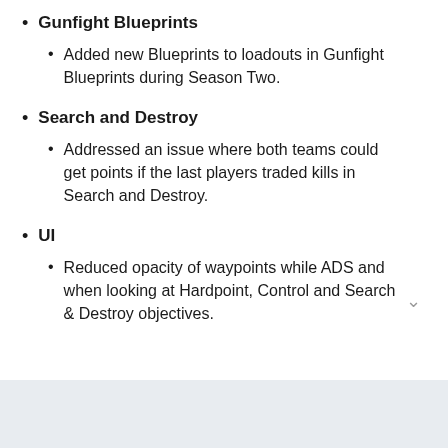Gunfight Blueprints
Added new Blueprints to loadouts in Gunfight Blueprints during Season Two.
Search and Destroy
Addressed an issue where both teams could get points if the last players traded kills in Search and Destroy.
UI
Reduced opacity of waypoints while ADS and when looking at Hardpoint, Control and Search & Destroy objectives.